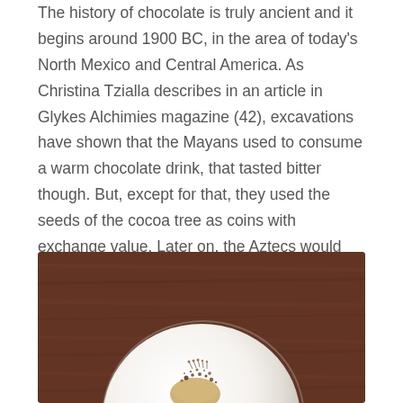The history of chocolate is truly ancient and it begins around 1900 BC, in the area of today's North Mexico and Central America. As Christina Tzialla describes in an article in Glykes Alchimies magazine (42), excavations have shown that the Mayans used to consume a warm chocolate drink, that tasted bitter though. But, except for that, they used the seeds of the cocoa tree as coins with exchange value. Later on, the Aztecs would also drink chocolate, in the form of a drink coloured with red colouring, intensely flavored with chili, vanilla and seeds from the exotic kapok tree.
[Figure (photo): A white plate with chocolate food/dessert and crumbled toppings on a brown wooden table background, viewed from above.]